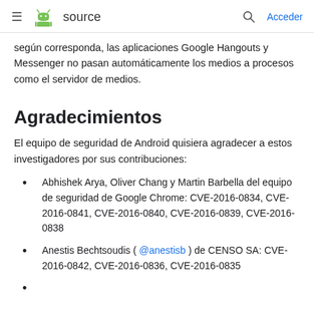≡  source   🔍  Acceder
según corresponda, las aplicaciones Google Hangouts y Messenger no pasan automáticamente los medios a procesos como el servidor de medios.
Agradecimientos
El equipo de seguridad de Android quisiera agradecer a estos investigadores por sus contribuciones:
Abhishek Arya, Oliver Chang y Martin Barbella del equipo de seguridad de Google Chrome: CVE-2016-0834, CVE-2016-0841, CVE-2016-0840, CVE-2016-0839, CVE-2016-0838
Anestis Bechtsoudis ( @anestisb ) de CENSO SA: CVE-2016-0842, CVE-2016-0836, CVE-2016-0835
(truncated at bottom)